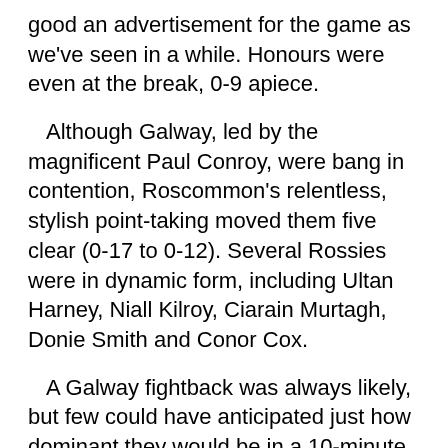good an advertisement for the game as we've seen in a while. Honours were even at the break, 0-9 apiece.
Although Galway, led by the magnificent Paul Conroy, were bang in contention, Roscommon's relentless, stylish point-taking moved them five clear (0-17 to 0-12). Several Rossies were in dynamic form, including Ultan Harney, Niall Kilroy, Ciarain Murtagh, Donie Smith and Conor Cox.
A Galway fightback was always likely, but few could have anticipated just how dominant they would be in a 10-minute spell which saw them clinically dismantle Roscommon's lead. When Galway's score-spree saw them go one in front, Roscommon began to wobble, and you sensed that the momentum would almost inevitably see maroon colours adorning the Division